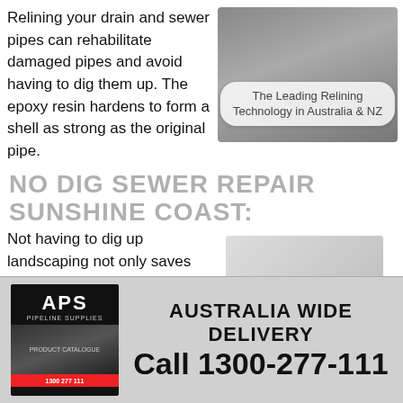Relining your drain and sewer pipes can rehabilitate damaged pipes and avoid having to dig them up. The epoxy resin hardens to form a shell as strong as the original pipe.
[Figure (photo): Close-up photo of pipe relining equipment in grey tones, with a rounded badge overlay reading 'The Leading Relining Technology in Australia & NZ']
NO DIG SEWER REPAIR SUNSHINE COAST:
Not having to dig up landscaping not only saves your garden and driveway, but can save you time and
[Figure (photo): Faded photo of pipe relining materials or equipment on-site]
[Figure (logo): APS logo block (Australia Pipeline Supplies) with product catalogue image and red strip]
AUSTRALIA WIDE DELIVERY
Call 1300-277-111